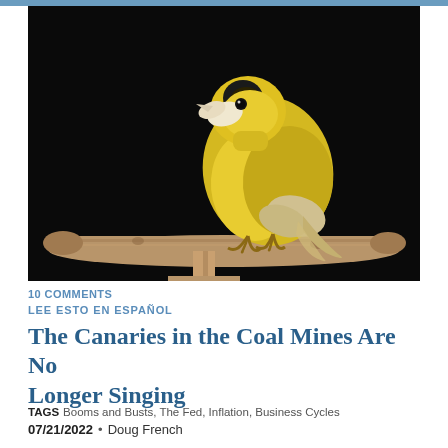[Figure (photo): A yellow canary bird perched on a wooden branch/perch against a black background. The bird is bright yellow with white-tinged wing feathers and is facing left.]
10 COMMENTS
LEE ESTO EN ESPAÑOL
The Canaries in the Coal Mines Are No Longer Singing
TAGS   Booms and Busts, The Fed, Inflation, Business Cycles
07/21/2022  •  Doug French